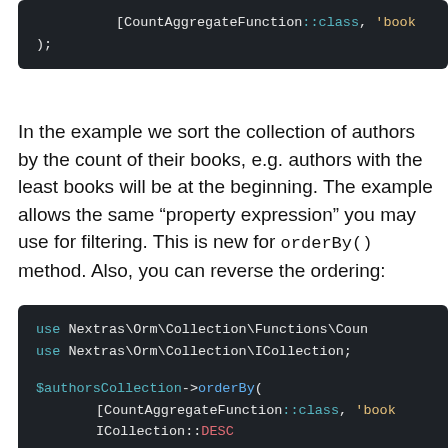[Figure (screenshot): Code block (top, partial): [CountAggregateFunction::class, 'book  );]
In the example we sort the collection of authors by the count of their books, e.g. authors with the least books will be at the beginning. The example allows the same “property expression” you may use for filtering. This is new for orderBy() method. Also, you can reverse the ordering:
[Figure (screenshot): Code block: use Nextras\Orm\Collection\Functions\Coun  use Nextras\Orm\Collection\ICollection;  $authorsCollection->orderBy(      [CountAggregateFunction::class, 'book      ICollection::DESC  );]